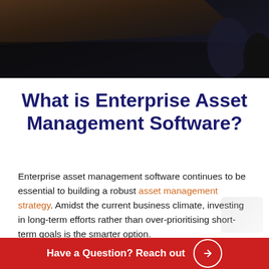[Figure (photo): Dark overhead photo of a conference table and chairs, dimly lit office environment]
What is Enterprise Asset Management Software?
Enterprise asset management software continues to be essential to building a robust asset management strategy. Amidst the current business climate, investing in long-term efforts rather than over-prioritising short-term goals is the smarter option.
Have a Question? Reach out